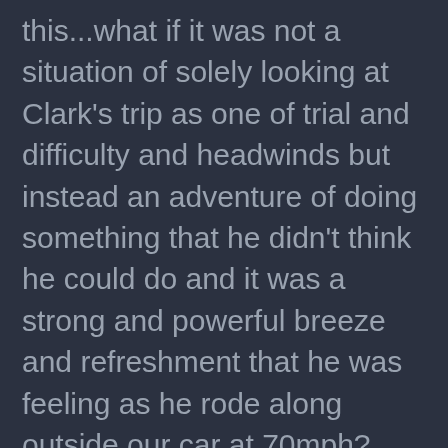this...what if it was not a situation of solely looking at Clark's trip as one of trial and difficulty and headwinds but instead an adventure of doing something that he didn't think he could do and it was a strong and powerful breeze and refreshment that he was feeling as he rode along outside our car at 70mph?  Our journey of faith is an adventure, it is often a journey into unknown directions and paths and trusting that God's got us and God's guiding us.  Clark didn't know where he was going to end up when he hopped on